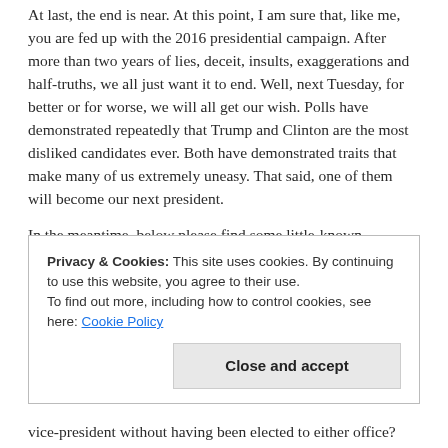At last, the end is near.  At this point, I am sure that, like me, you are fed up with the 2016 presidential campaign.  After more than two years of lies, deceit, insults, exaggerations  and half-truths, we all just want it to end.  Well, next Tuesday, for better or for worse, we will all get our wish.  Polls have demonstrated repeatedly that Trump and Clinton are the most disliked candidates ever.  Both have demonstrated traits that make many of us extremely uneasy.  That said, one of them will become our next president.
In the meantime, below please find some little-known presidential election facts, which , hopefully, you will find interesting and informative.  First, two quiz questions.  They are not particularly difficult.  In fact, those of you who have been reading my blogs
Privacy & Cookies: This site uses cookies. By continuing to use this website, you agree to their use. To find out more, including how to control cookies, see here: Cookie Policy
Close and accept
vice-president without having been elected to either office?